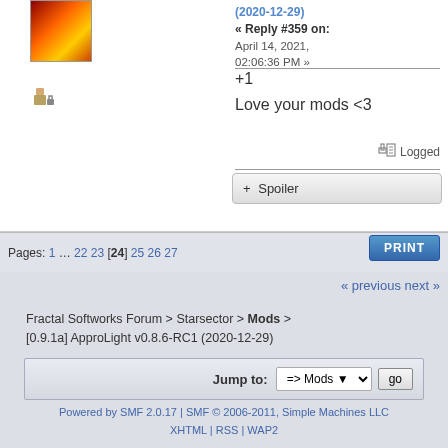« Reply #359 on: April 14, 2021, 02:06:36 PM »
+1
Love your mods <3
Logged
+ Spoiler
Pages: 1 … 22 23 [24] 25 26 27
PRINT
« previous next »
Fractal Softworks Forum > Starsector > Mods > [0.9.1a] ApproLight v0.8.6-RC1 (2020-12-29)
Jump to: => Mods go
Powered by SMF 2.0.17 | SMF © 2006-2011, Simple Machines LLC XHTML | RSS | WAP2